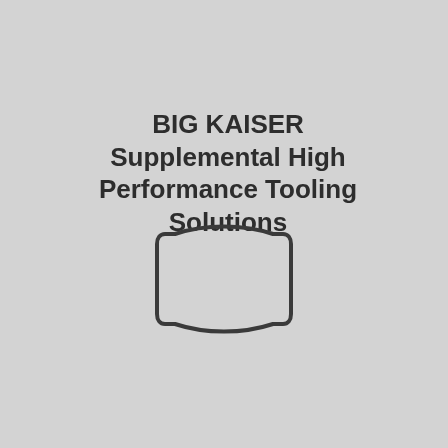BIG KAISER Supplemental High Performance Tooling Solutions
[Figure (illustration): A rounded rectangle outline icon (like a stylized flag or screen shape) drawn with dark strokes on grey background, with slightly concave top and bottom edges giving a pillow/cushion-like appearance.]